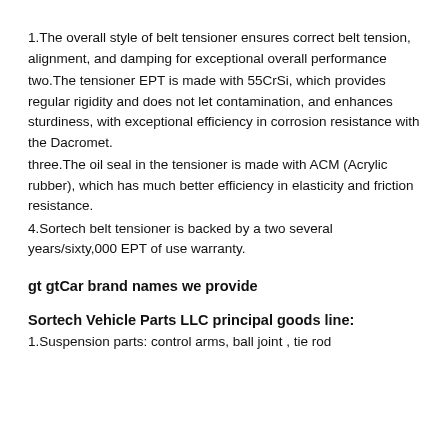1.The overall style of belt tensioner ensures correct belt tension, alignment, and damping for exceptional overall performance
two.The tensioner EPT is made with 55CrSi, which provides regular rigidity and does not let contamination, and enhances sturdiness, with exceptional efficiency in corrosion resistance with the Dacromet.
three.The oil seal in the tensioner is made with ACM (Acrylic rubber), which has much better efficiency in elasticity and friction resistance.
4.Sortech belt tensioner is backed by a two several years/sixty,000 EPT of use warranty.
gt gtCar brand names we provide
Sortech Vehicle Parts LLC principal goods line:
1.Suspension parts: control arms, ball joint , tie rod stabilizer and attitude EPT, shock and steering connecting rods